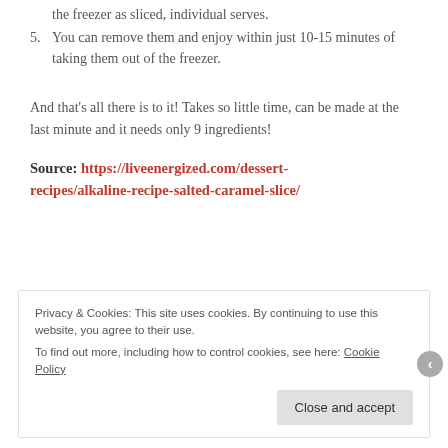the freezer as sliced, individual serves.
5. You can remove them and enjoy within just 10-15 minutes of taking them out of the freezer.
And that’s all there is to it! Takes so little time, can be made at the last minute and it needs only 9 ingredients!
Source: https://liveenergized.com/dessert-recipes/alkaline-recipe-salted-caramel-slice/
Privacy & Cookies: This site uses cookies. By continuing to use this website, you agree to their use. To find out more, including how to control cookies, see here: Cookie Policy